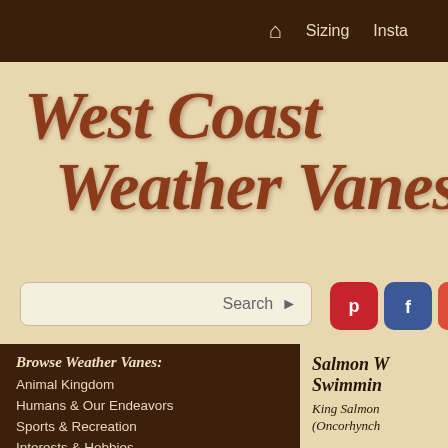🏠 Sizing Insta
West Coast Weather Vanes
[Figure (screenshot): Search bar with Search button and arrow, plus Pinterest, Facebook, and Google+ social media icons]
Browse Weather Vanes:
Animal Kingdom
Humans & Our Endeavors
Sports & Recreation
Interests & Hobbies
Salmon W... Swimming...
King Salmon (Oncorhynch...